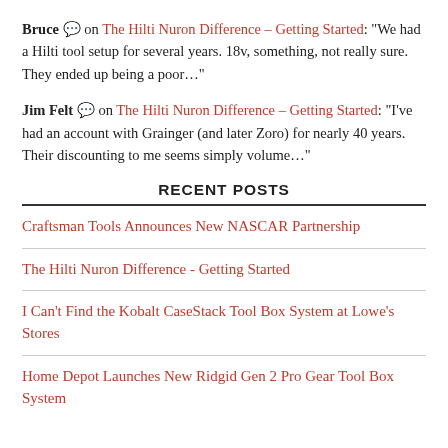Bruce 💬 on The Hilti Nuron Difference – Getting Started: "We had a Hilti tool setup for several years. 18v, something, not really sure. They ended up being a poor…"
Jim Felt 💬 on The Hilti Nuron Difference – Getting Started: "I've had an account with Grainger (and later Zoro) for nearly 40 years. Their discounting to me seems simply volume…"
RECENT POSTS
Craftsman Tools Announces New NASCAR Partnership
The Hilti Nuron Difference - Getting Started
I Can't Find the Kobalt CaseStack Tool Box System at Lowe's Stores
Home Depot Launches New Ridgid Gen 2 Pro Gear Tool Box System